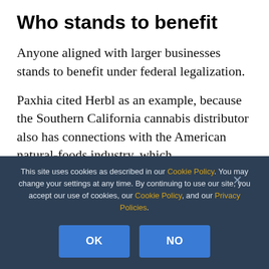Who stands to benefit
Anyone aligned with larger businesses stands to benefit under federal legalization.
Paxhia cited Herbl as an example, because the Southern California cannabis distributor also has connections with the American natural-foods industry, which
This site uses cookies as described in our Cookie Policy. You may change your settings at any time. By continuing to use our site, you accept our use of cookies, our Cookie Policy, and our Privacy Policies.